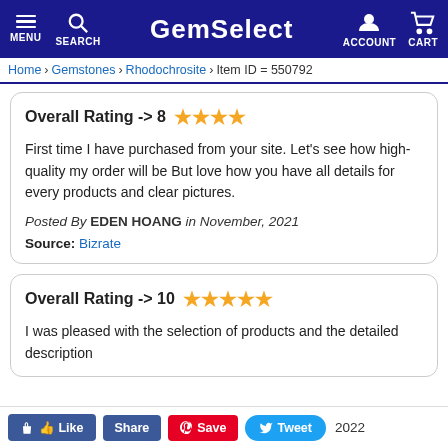GemSelect — MENU SEARCH ACCOUNT CART
Home > Gemstones > Rhodochrosite > Item ID = 550792
Overall Rating -> 8 ★★★★
First time I have purchased from your site. Let's see how high-quality my order will be But love how you have all details for every products and clear pictures.
Posted By EDEN HOANG in November, 2021
Source: Bizrate
Overall Rating -> 10 ★★★★★
I was pleased with the selection of products and the detailed description
2022
Like  Share  Save  Tweet